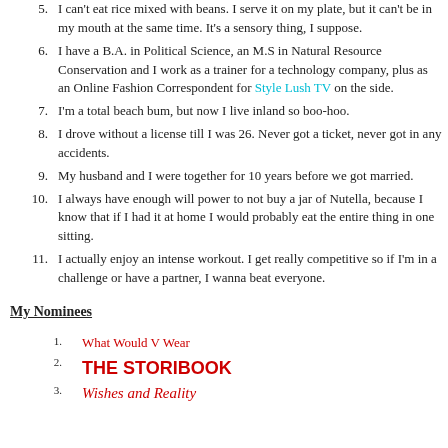5. I can't eat rice mixed with beans. I serve it on my plate, but it can't be in my mouth at the same time. It's a sensory thing, I suppose.
6. I have a B.A. in Political Science, an M.S in Natural Resource Conservation and I work as a trainer for a technology company, plus as an Online Fashion Correspondent for Style Lush TV on the side.
7. I'm a total beach bum, but now I live inland so boo-hoo.
8. I drove without a license till I was 26. Never got a ticket, never got in any accidents.
9. My husband and I were together for 10 years before we got married.
10. I always have enough will power to not buy a jar of Nutella, because I know that if I had it at home I would probably eat the entire thing in one sitting.
11. I actually enjoy an intense workout. I get really competitive so if I'm in a challenge or have a partner, I wanna beat everyone.
My Nominees
1. What Would V Wear
2. THE STORIBOOK
3. Wishes and Reality